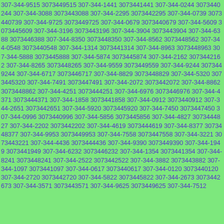307-344-9515 3073449515 307-344-1441 3073441441 307-344-0244 3073440244 307-344-3088 3073443088 307-344-2295 3073442295 307-344-0739 3073440739 307-344-9725 3073449725 307-344-0679 3073440679 307-344-5609 3073445609 307-344-3196 3073443196 307-344-3904 3073443904 307-344-6388 3073446388 307-344-8350 3073448350 307-344-8562 3073448562 307-344-0548 3073440548 307-344-1314 3073441314 307-344-8963 3073448963 307-344-5888 3073445888 307-344-5874 3073445874 307-344-2162 3073442162 307-344-8265 3073448265 307-344-9559 3073449559 307-344-9244 3073449244 307-344-6717 3073446717 307-344-8829 3073448829 307-344-5320 3073445320 307-344-7491 3073447491 307-344-2072 3073442072 307-344-8862 3073448862 307-344-4251 3073444251 307-344-6976 3073446976 307-344-4371 3073444371 307-344-1858 3073441858 307-344-0912 3073440912 307-344-2651 3073442651 307-344-5920 3073445920 307-344-7450 3073447450 307-344-0996 3073440996 307-344-5856 3073445856 307-344-4827 3073444827 307-344-2202 3073442202 307-344-4619 3073444619 307-344-8377 3073448377 307-344-9953 3073449953 307-344-7558 3073447558 307-344-3221 3073443221 307-344-4436 3073444436 307-344-9390 3073449390 307-344-1949 3073441949 307-344-6232 3073446232 307-344-1354 3073441354 307-344-8241 3073448241 307-344-2522 3073442522 307-344-3882 3073443882 307-344-1097 3073441097 307-344-0617 3073440617 307-344-0120 3073440120 307-344-2720 3073442720 307-344-5822 3073445822 307-344-2673 3073442673 307-344-3571 3073443571 307-344-9625 3073449625 307-344-7512